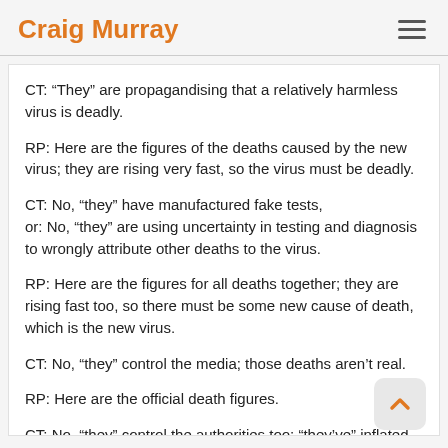Craig Murray
CT: “They” are propagandising that a relatively harmless virus is deadly.
RP: Here are the figures of the deaths caused by the new virus; they are rising very fast, so the virus must be deadly.
CT: No, “they” have manufactured fake tests,
or: No, “they” are using uncertainty in testing and diagnosis to wrongly attribute other deaths to the virus.
RP: Here are the figures for all deaths together; they are rising fast too, so there must be some new cause of death, which is the new virus.
CT: No, “they” control the media; those deaths aren’t real.
RP: Here are the official death figures.
CT: No, “they” control the authorities too; “they’ve” inflated the